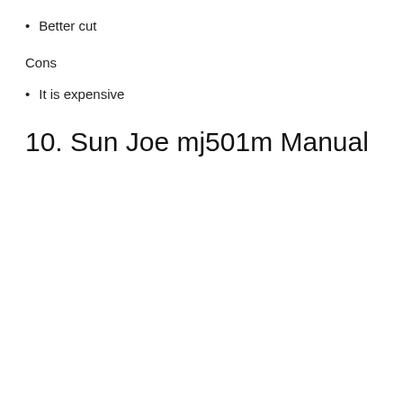Better cut
Cons
It is expensive
10. Sun Joe mj501m Manual